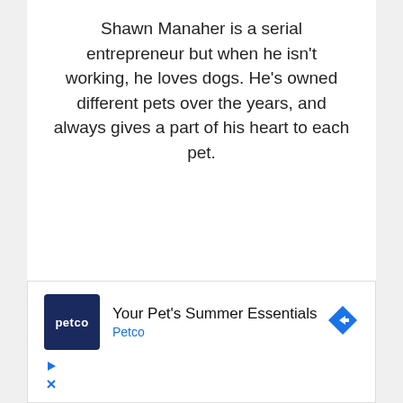Shawn Manaher is a serial entrepreneur but when he isn't working, he loves dogs. He's owned different pets over the years, and always gives a part of his heart to each pet.
[Figure (infographic): Petco advertisement banner with logo, headline 'Your Pet's Summer Essentials', brand name 'Petco', a blue diamond-shaped arrow icon, and ad control buttons (play and close).]